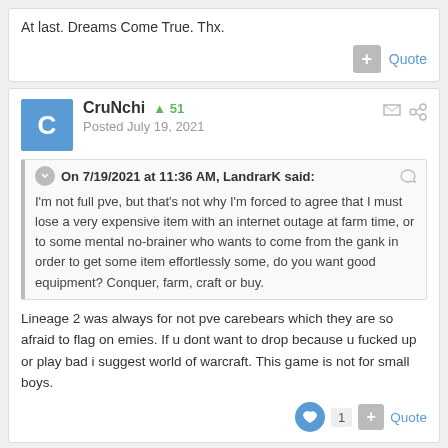At last. Dreams Come True. Thx.
CruNchi  +51
Posted July 19, 2021
On 7/19/2021 at 11:36 AM, LandrarK said:
I'm not full pve, but that's not why I'm forced to agree that I must lose a very expensive item with an internet outage at farm time, or to some mental no-brainer who wants to come from the gank in order to get some item effortlessly some, do you want good equipment? Conquer, farm, craft or buy.
Lineage 2 was always for not pve carebears which they are so afraid to flag on emies. If u dont want to drop because u fucked up or play bad i suggest world of warcraft. This game is not for small boys.